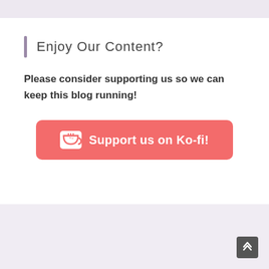Enjoy Our Content?
Please consider supporting us so we can keep this blog running!
[Figure (other): Ko-fi support button with cup icon reading 'Support us on Ko-fi!']
[Figure (other): Back to top arrow button in bottom-right corner]